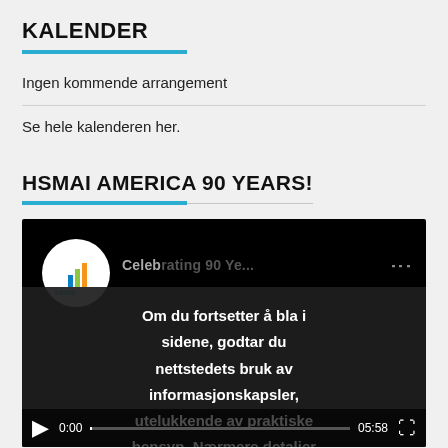KALENDER
Ingen kommende arrangement
Se hele kalenderen her.
HSMAI AMERICA 90 YEARS!
[Figure (screenshot): Embedded video player showing HSMAI logo and 'Celebrating 90 Years' title, with cookie consent overlay in Norwegian: 'Om du fortsetter å bla i sidene, godtar du nettstedets bruk av informasjonskapsler, utelukkende av praktiske hensyn. Nærmere detaljer' and a Godta (Accept) button. Video controls show 0:00 and 05:58.]
HSMAI EVENT AWARDS NORWAY 2017: SHARING THE GLORY